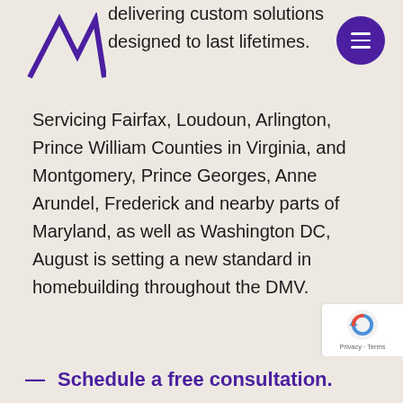[Figure (logo): August Homes logo — two triangular peaks in purple forming stylized 'AA' or mountain shape]
[Figure (other): Purple circular menu button with three white horizontal lines (hamburger menu icon)]
delivering custom solutions designed to last lifetimes. Servicing Fairfax, Loudoun, Arlington, Prince William Counties in Virginia, and Montgomery, Prince Georges, Anne Arundel, Frederick and nearby parts of Maryland, as well as Washington DC,  August is setting a new standard in homebuilding throughout the DMV.
[Figure (other): reCAPTCHA badge with blue/grey refresh arrow logo and 'Privacy · Terms' text]
—  Schedule a free consultation.